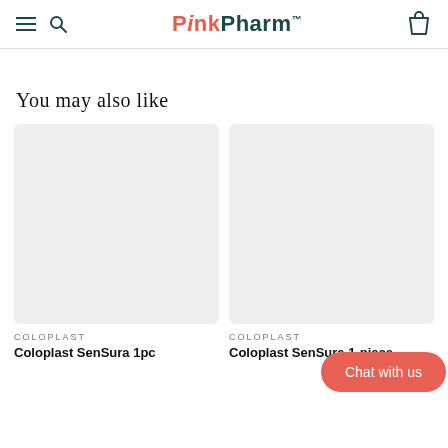PinkPharm
You may also like
[Figure (photo): Gray placeholder product image box for Coloplast SenSura 1pc]
COLOPLAST
Coloplast SenSura 1pc
[Figure (photo): Gray placeholder product image box for Coloplast SenSura 1-piece]
COLOPLAST
Coloplast SenSura 1-piece